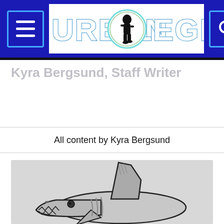[Figure (logo): Urban Legend website header with hamburger menu icon on left, Urban Legend logo (bigfoot silhouette in circle between 'URBAN' and 'LEGEND' text) in center on white background, and search icon on right, all on blue background]
Kyra Bergsund, Staff Writer
All content by Kyra Bergsund
[Figure (illustration): Pencil/ink sketch illustration of a shark (great white) viewed from front-side angle, showing dorsal fin, open mouth with teeth, on light gray background]